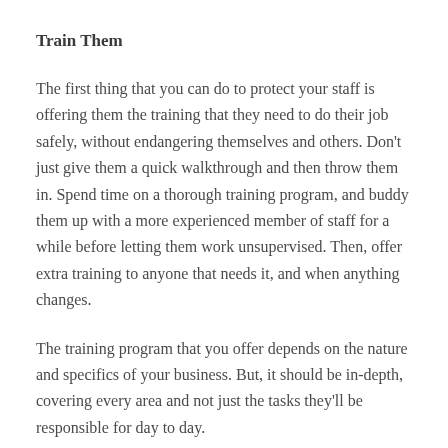Train Them
The first thing that you can do to protect your staff is offering them the training that they need to do their job safely, without endangering themselves and others. Don't just give them a quick walkthrough and then throw them in. Spend time on a thorough training program, and buddy them up with a more experienced member of staff for a while before letting them work unsupervised. Then, offer extra training to anyone that needs it, and when anything changes.
The training program that you offer depends on the nature and specifics of your business. But, it should be in-depth, covering every area and not just the tasks they'll be responsible for day to day.